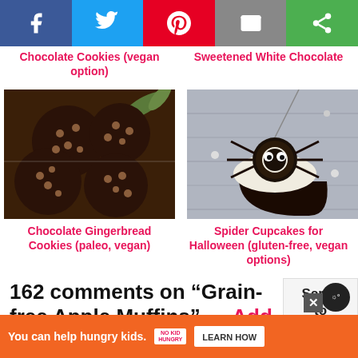[Figure (screenshot): Social sharing bar with Facebook, Twitter, Pinterest, Email, and a green share button]
Chocolate Cookies (vegan option)
Sweetened White Chocolate
[Figure (photo): Chocolate gingerbread cookies with chocolate chips on a wire rack with pine sprigs]
[Figure (photo): Spider cupcake for Halloween - dark chocolate cupcake with white frosting and an Oreo spider on top]
Chocolate Gingerbread Cookies (paleo, vegan)
Spider Cupcakes for Halloween (gluten-free, vegan options)
162 comments on “Grain-free Apple Muffins” — Add one!
[Figure (screenshot): Scroll to top button overlay]
[Figure (screenshot): No Kid Hungry advertisement banner: You can help hungry kids. LEARN HOW]